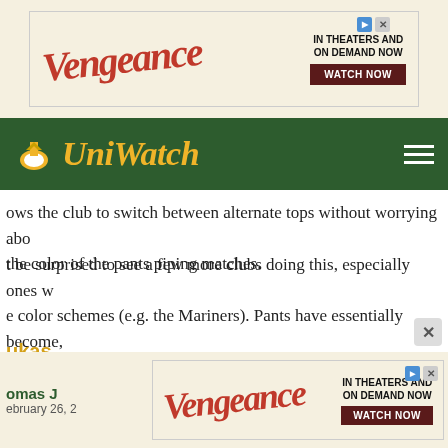[Figure (screenshot): Vengeance movie advertisement banner at top of page]
[Figure (logo): Uni Watch website logo and navigation bar on dark green background]
ows the club to switch between alternate tops without worrying about the color of the pants piping matches.
t be surprised to see a few more clubs doing this, especially ones w e color schemes (e.g. the Mariners). Pants have essentially become, ams, just a background to the jersey and a way to indicate home an
ukas
ary 26, 2016 at 10:57 am
have essentially become, for some teams, just a background to the j
teams unveil new uniforms, I now often see fans and even other wr ng to the unveiling of "a new jersey," as if the rest of the uniform di or didn't matter. I'm certain this is yet another unfortunate ramificatio retailing.
omas J
ebruary 26, 2
[Figure (screenshot): Vengeance movie advertisement banner at bottom of page]